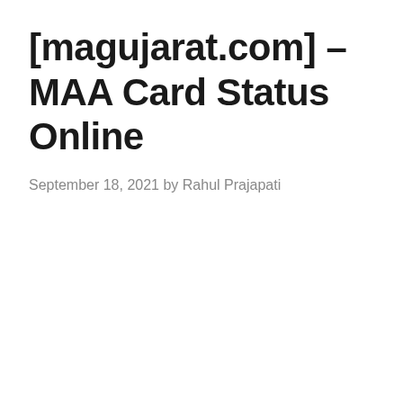[magujarat.com] – MAA Card Status Online
September 18, 2021 by Rahul Prajapati